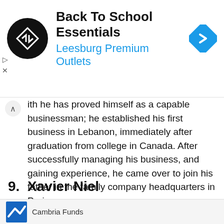[Figure (other): Advertisement banner: Back To School Essentials - Leesburg Premium Outlets with logo and navigation icon]
ith he has proved himself as a capable businessman; he established his first business in Lebanon, immediately after graduation from college in Canada. After successfully managing his business, and gaining experience, he came over to join his father in the family company headquarters in Paris.
9.  Xavier Niel
Net worth: $8.8 billion
Company: Iliad SA
Xavier Niel was born on 25 August 1967. He is a
[Figure (other): Bottom advertisement strip: Cambria Funds logo and text]